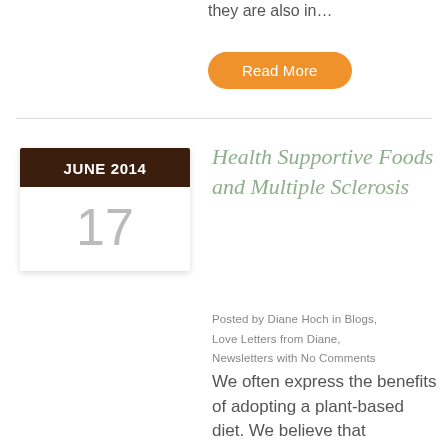they are also in…
Read More
Health Supportive Foods and Multiple Sclerosis
Posted by Diane Hoch in Blogs, Love Letters from Diane, Newsletters with No Comments
We often express the benefits of adopting a plant-based diet. We believe that consuming whole, real foods will offer relief to many different symptoms and